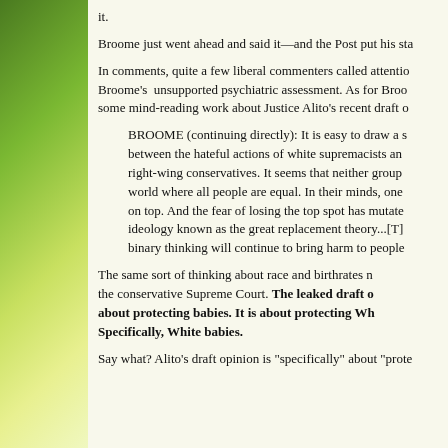it.
Broome just went ahead and said it—and the Post put his sta
In comments, quite a few liberal commenters called attentio Broome's unsupported psychiatric assessment. As for Broo some mind-reading work about Justice Alito's recent draft o
BROOME (continuing directly): It is easy to draw a s between the hateful actions of white supremacists an right-wing conservatives. It seems that neither group world where all people are equal. In their minds, one on top. And the fear of losing the top spot has mutate ideology known as the great replacement theory...[T] binary thinking will continue to bring harm to people
The same sort of thinking about race and birthrates n the conservative Supreme Court. The leaked draft o about protecting babies. It is about protecting Wh Specifically, White babies.
Say what? Alito's draft opinion is "specifically" about "prote